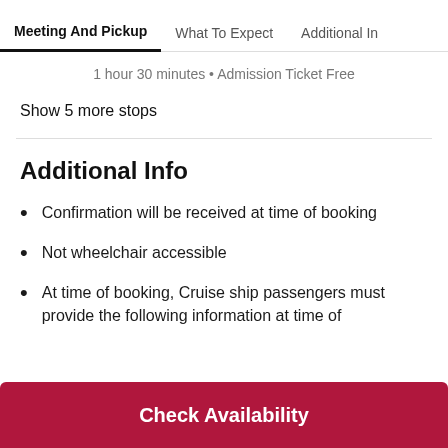Meeting And Pickup | What To Expect | Additional Info
1 hour 30 minutes • Admission Ticket Free
Show 5 more stops
Additional Info
Confirmation will be received at time of booking
Not wheelchair accessible
At time of booking, Cruise ship passengers must provide the following information at time of